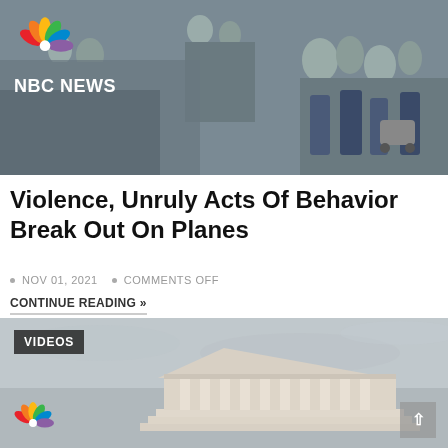[Figure (photo): NBC News banner image showing crowd of people at an airport or public space, with NBC News logo (peacock) in upper left corner and 'NBC NEWS' text below it]
Violence, Unruly Acts Of Behavior Break Out On Planes
NOV 01, 2021 • COMMENTS OFF
CONTINUE READING »
[Figure (screenshot): NBC News video thumbnail showing the US Supreme Court building with columns and pediment against a cloudy grey sky. A 'VIDEOS' badge appears in upper left. NBC peacock logo visible at bottom left. A scroll-to-top button appears in lower right.]